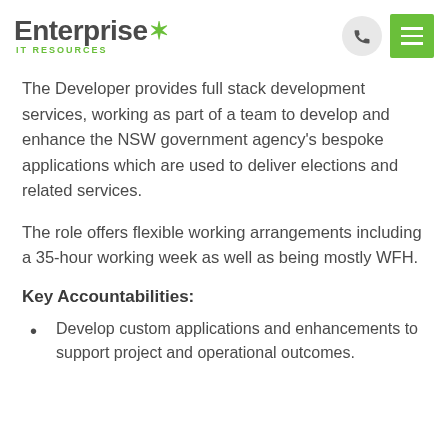Enterprise IT RESOURCES
The Developer provides full stack development services, working as part of a team to develop and enhance the NSW government agency's bespoke applications which are used to deliver elections and related services.
The role offers flexible working arrangements including a 35-hour working week as well as being mostly WFH.
Key Accountabilities:
Develop custom applications and enhancements to support project and operational outcomes.